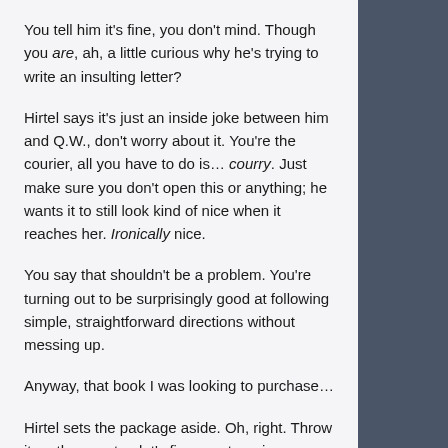You tell him it's fine, you don't mind. Though you are, ah, a little curious why he's trying to write an insulting letter?
Hirtel says it's just an inside joke between him and Q.W., don't worry about it. You're the courier, all you have to do is… courry. Just make sure you don't open this or anything; he wants it to still look kind of nice when it reaches her. Ironically nice.
You say that shouldn't be a problem. You're turning out to be surprisingly good at following simple, straightforward directions without messing up.
Anyway, that book I was looking to purchase…
Hirtel sets the package aside. Oh, right. Throw it on the counter, let's figure out a price.